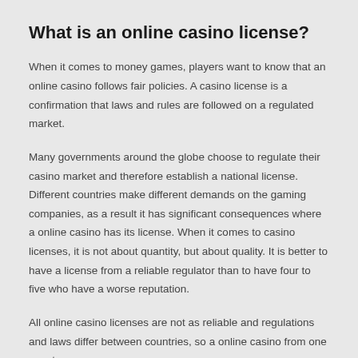What is an online casino license?
When it comes to money games, players want to know that an online casino follows fair policies. A casino license is a confirmation that laws and rules are followed on a regulated market.
Many governments around the globe choose to regulate their casino market and therefore establish a national license. Different countries make different demands on the gaming companies, as a result it has significant consequences where a online casino has its license. When it comes to casino licenses, it is not about quantity, but about quality. It is better to have a license from a reliable regulator than to have four to five who have a worse reputation.
All online casino licenses are not as reliable and regulations and laws differ between countries, so a online casino from one country